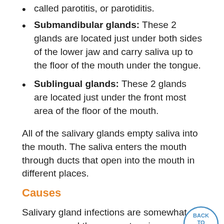called parotitis, or parotiditis.
Submandibular glands: These 2 glands are located just under both sides of the lower jaw and carry saliva up to the floor of the mouth under the tongue.
Sublingual glands: These 2 glands are located just under the front most area of the floor of the mouth.
All of the salivary glands empty saliva into the mouth. The saliva enters the mouth through ducts that open into the mouth in different places.
Causes
Salivary gland infections are somewhat common, and they can return in some people.
Viral infections such as mumps often affect the salivary glands. (Mumps most often involves the parotid salivary